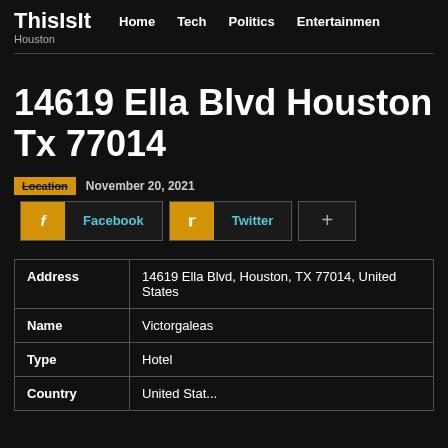ThisIsIt Houston | Home | Tech | Politics | Entertainmen
14619 Ella Blvd Houston Tx 77014
Location   November 20, 2021
f Facebook   Twitter   +
|  |  |
| --- | --- |
| Address | 14619 Ella Blvd, Houston, TX 77014, United States |
| Name | Victorgaleas |
| Type | Hotel |
| Country | United States |